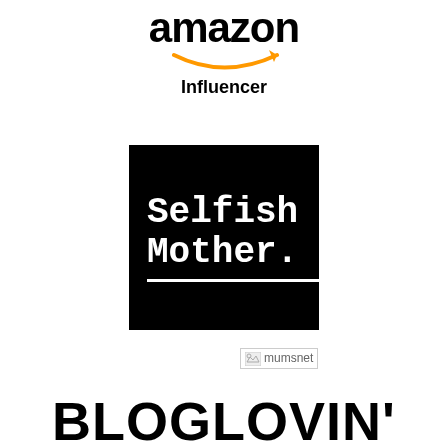[Figure (logo): Amazon Influencer logo with stylized 'amazon' wordmark in black with orange arrow/smile underneath and 'Influencer' text in bold]
[Figure (logo): Selfish Mother. logo - white text on black square background with underline]
[Figure (logo): Mumsnet logo - small broken/placeholder image with text 'mumsnet']
[Figure (logo): BLOGLOVIN' logo in large bold black text]